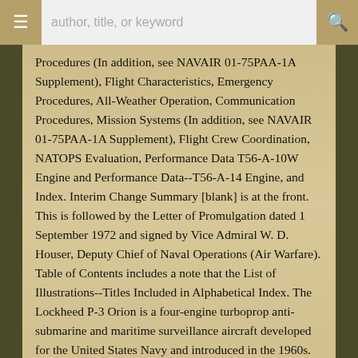author, title, or keyword
Procedures (In addition, see NAVAIR 01-75PAA-1A Supplement), Flight Characteristics, Emergency Procedures, All-Weather Operation, Communication Procedures, Mission Systems (In addition, see NAVAIR 01-75PAA-1A Supplement), Flight Crew Coordination, NATOPS Evaluation, Performance Data T56-A-10W Engine and Performance Data--T56-A-14 Engine, and Index. Interim Change Summary [blank] is at the front. This is followed by the Letter of Promulgation dated 1 September 1972 and signed by Vice Admiral W. D. Houser, Deputy Chief of Naval Operations (Air Warfare). Table of Contents includes a note that the List of Illustrations--Titles Included in Alphabetical Index. The Lockheed P-3 Orion is a four-engine turboprop anti-submarine and maritime surveillance aircraft developed for the United States Navy and introduced in the 1960s. Lockheed based it on the L-188 Electra commercial airliner. The aircraft is easily distinguished from the Electra by its distinctive tail stinger or "MAD Boom", used for the magnetic detection of submarines. Over the years, the aircraft has seen numerous design developments, most notably in its electronics packages. Numerous navies and air forces around the